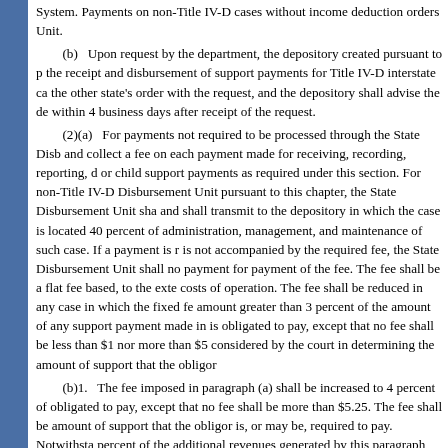System. Payments on non-Title IV-D cases without income deduction orders Unit.
(b) Upon request by the department, the depository created pursuant to p the receipt and disbursement of support payments for Title IV-D interstate ca the other state's order with the request, and the depository shall advise the de within 4 business days after receipt of the request.
(2)(a) For payments not required to be processed through the State Disb and collect a fee on each payment made for receiving, recording, reporting, d or child support payments as required under this section. For non-Title IV-D Disbursement Unit pursuant to this chapter, the State Disbursement Unit sha and shall transmit to the depository in which the case is located 40 percent of administration, management, and maintenance of such case. If a payment is r is not accompanied by the required fee, the State Disbursement Unit shall no payment for payment of the fee. The fee shall be a flat fee based, to the exte costs of operation. The fee shall be reduced in any case in which the fixed fe amount greater than 3 percent of the amount of any support payment made in is obligated to pay, except that no fee shall be less than $1 nor more than $5 considered by the court in determining the amount of support that the obligor
(b)1. The fee imposed in paragraph (a) shall be increased to 4 percent of obligated to pay, except that no fee shall be more than $5.25. The fee shall be amount of support that the obligor is, or may be, required to pay. Notwithsta percent of the additional revenues generated by this paragraph shall be remitt